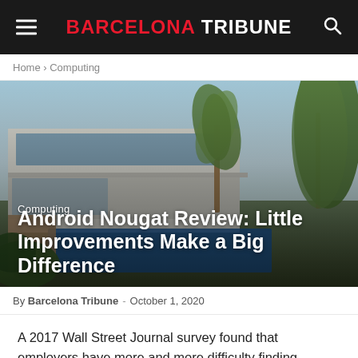BARCELONA TRIBUNE
Home › Computing
[Figure (photo): Modern luxury house with pool, palm trees, and tropical garden. Overlaid text shows category 'Computing' and article title 'Android Nougat Review: Little Improvements Make a Big Difference'.]
By Barcelona Tribune - October 1, 2020
A 2017 Wall Street Journal survey found that employers have more and more difficulty finding people with the